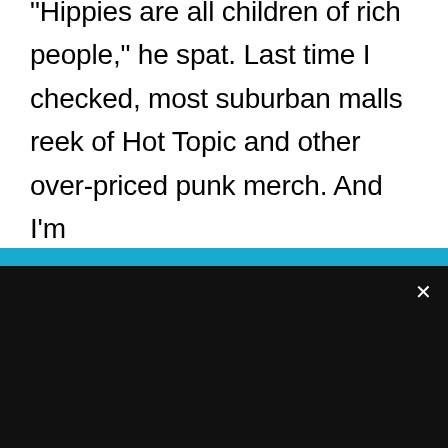"Hippies are all children of rich people," he spat. Last time I checked, most suburban malls reek of Hot Topic and other over-priced punk merch. And I'm
COOKIE NOTICE
We utilize cookie technology to collect data regarding the number of visits a person has made to our site. This data is stored in aggregate form and is in no way singled out in an individual file. This information allows us to know what pages/sites are of interest to our users and what pages/sites may be of less interest. See more